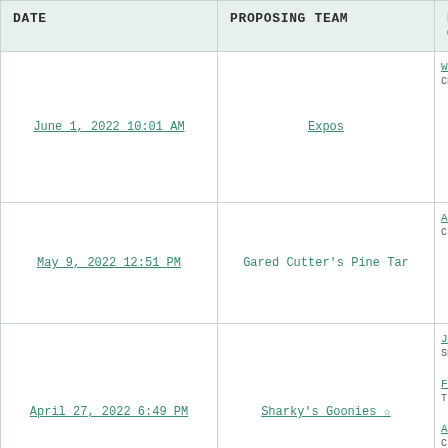| DATE | PROPOSING TEAM | PROP GIVE (truncated) |
| --- | --- | --- |
| June 1, 2022 10:01 AM | Expos | Will... / CH... |
| May 9, 2022 12:51 PM | Gared Cutter's Pine Tar | And... / CLE... |
| April 27, 2022 6:49 PM | Sharky's Goonies ☆ | Je... / SE... / Fra... / T... / Aa... / CLE... |